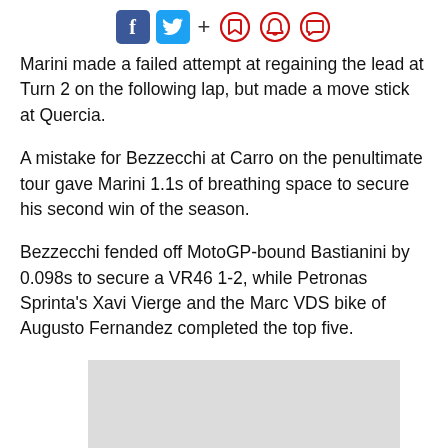Social share icons: Facebook, Twitter, +, bookmark, notification, comment
Marini made a failed attempt at regaining the lead at Turn 2 on the following lap, but made a move stick at Quercia.
A mistake for Bezzecchi at Carro on the penultimate tour gave Marini 1.1s of breathing space to secure his second win of the season.
Bezzecchi fended off MotoGP-bound Bastianini by 0.098s to secure a VR46 1-2, while Petronas Sprinta's Xavi Vierge and the Marc VDS bike of Augusto Fernandez completed the top five.
[Figure (other): Advertisement placeholder (grey rectangle)]